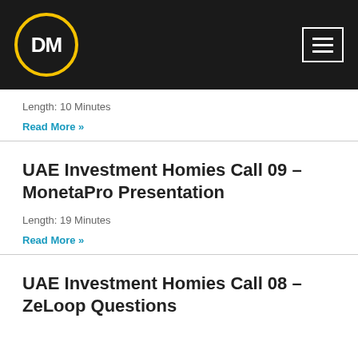DM
Length: 10 Minutes
Read More »
UAE Investment Homies Call 09 – MonetaPro Presentation
Length: 19 Minutes
Read More »
UAE Investment Homies Call 08 – ZeLoop Questions